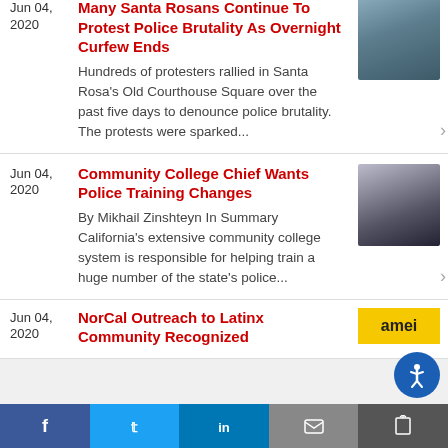Jun 04, 2020
Many Santa Rosans Continue To Protest Police Brutality As Overnight Curfew Ends
Hundreds of protesters rallied in Santa Rosa's Old Courthouse Square over the past five days to denounce police brutality. The protests were sparked...
[Figure (photo): Two people wearing masks standing outdoors]
Jun 04, 2020
Community College Chief Wants Police Training Changes
By Mikhail Zinshteyn In Summary California's extensive community college system is responsible for helping train a huge number of the state's police...
[Figure (photo): Police car on street]
Jun 04, 2020
NorCal Outreach to Latinx Community Recognized